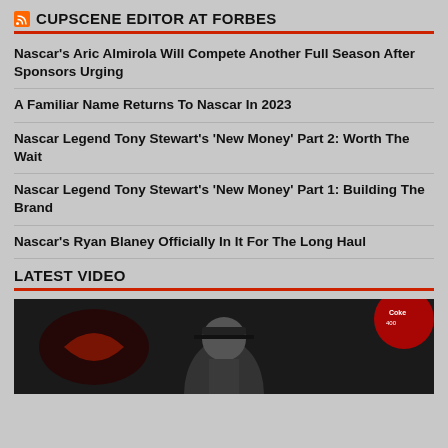CUPSCENE EDITOR AT FORBES
Nascar's Aric Almirola Will Compete Another Full Season After Sponsors Urging
A Familiar Name Returns To Nascar In 2023
Nascar Legend Tony Stewart's 'New Money' Part 2: Worth The Wait
Nascar Legend Tony Stewart's 'New Money' Part 1: Building The Brand
Nascar's Ryan Blaney Officially In It For The Long Haul
LATEST VIDEO
[Figure (photo): Video thumbnail showing a NASCAR driver in a cap and jacket, with logos visible in the background including what appears to be Coca-Cola branding]